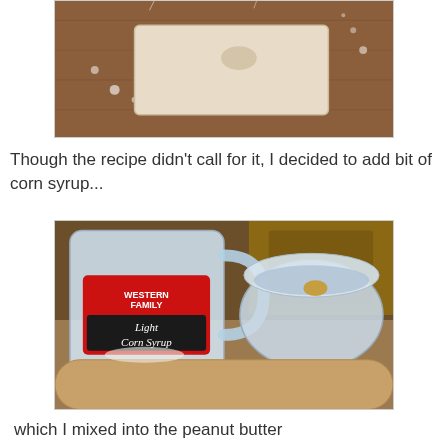[Figure (photo): Photo of a flat rectangular piece of dough on a floured wooden surface]
Though the recipe didn't call for it, I decided to add bit of corn syrup...
[Figure (photo): Photo of a large jug of Western Family Light Corn Syrup next to a plastic container with a lid, sitting on a floured surface]
which I mixed into the peanut butter